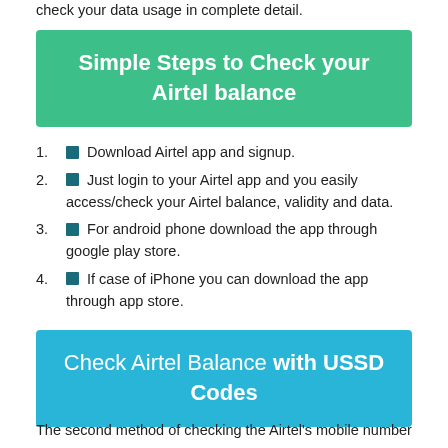check your data usage in complete detail.
Simple Steps to Check your Airtel balance
Download Airtel app and signup.
Just login to your Airtel app and you easily access/check your Airtel balance, validity and data.
For android phone download the app through google play store.
If case of iPhone you can download the app through app store.
Check Airtel Balance with USSD Codes
The second method of checking the Airtel's mobile number